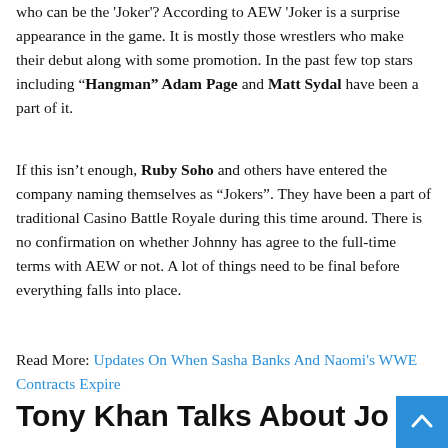who can be the 'Joker'? According to AEW 'Joker is a surprise appearance in the game. It is mostly those wrestlers who make their debut along with some promotion. In the past few top stars including "Hangman" Adam Page and Matt Sydal have been a part of it.
If this isn't enough, Ruby Soho and others have entered the company naming themselves as "Jokers". They have been a part of traditional Casino Battle Royale during this time around. There is no confirmation on whether Johnny has agree to the full-time terms with AEW or not. A lot of things need to be final before everything falls into place.
Read More: Updates On When Sasha Banks And Naomi's WWE Contracts Expire
Tony Khan Talks About Johnny